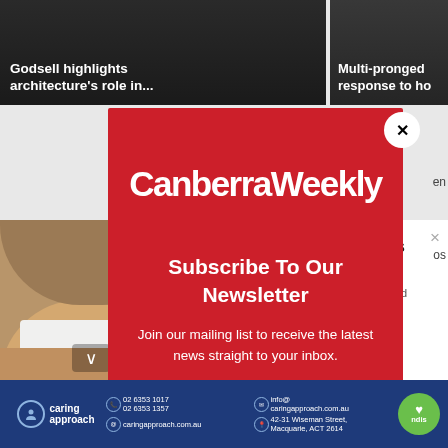Godsell highlights architecture's role in...
Multi-pronged response to ho
CanberraWeekly
Subscribe To Our Newsletter
Join our mailing list to receive the latest news straight to your inbox.
Full Mouth Dental Implants (Take a Look at the Prices)
Dental Implants | Search Ads | Sponsored
caring approach  02 6353 1017  02 6353 1357  info@caringapproach.com.au  caringapproach.com.au  42-31 Wiseman Street, Macquarie, ACT 2614  I love ndis